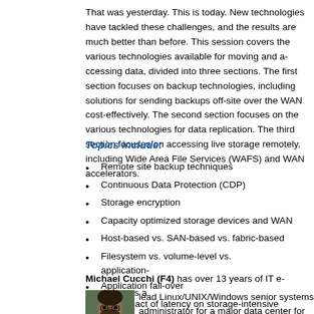That was yesterday. This is today. New techno... challenges, and the results are much better tha... various technologies available for moving and a... three sections. The first section focuses on bac... solutions for sending backups off-site over the W... The second section focuses on the various tec... The third section focuses on accessing live sto... Wide Area File Services (WAFS) and WAN acc...
Topics include:
Remote site backup techniques
Continuous Data Protection (CDP)
Storage encryption
Capacity optimized storage devices and WA...
Host-based vs. SAN-based vs. fabric-based...
Filesystem vs. volume-level vs. application-...
Application fail-over
The impact of latency on storage-intensive a...
Compensating for WAN latencies
WAN accelerators
Wide Area File Services (WAFS)
Email server consolidation
Michael Cucchi (F4) has over 13 years of IT e... lead Linux/UNIX/Windows senior sy... major data center for the Federal De... year stint as a solution engineer for...
[Figure (photo): Headshot photo of Michael Cucchi]